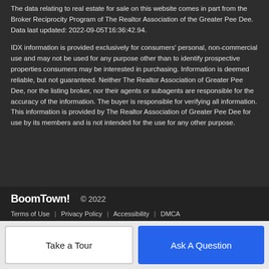The data relating to real estate for sale on this website comes in part from the Broker Reciprocity Program of The Realtor Association of the Greater Pee Dee. Data last updated: 2022-09-05T16:36:42.94.

IDX information is provided exclusively for consumers' personal, non-commercial use and may not be used for any purpose other than to identify prospective properties consumers may be interested in purchasing. Information is deemed reliable, but not guaranteed. Neither The Realtor Association of Greater Pee Dee, nor the listing broker, nor their agents or subagents are responsible for the accuracy of the information. The buyer is responsible for verifying all information. This information is provided by The Realtor Association of Greater Pee Dee for use by its members and is not intended for the use for any other purpose.
BoomTown! © 2022
Terms of Use | Privacy Policy | Accessibility | DMCA
Take a Tour
Ask A Question